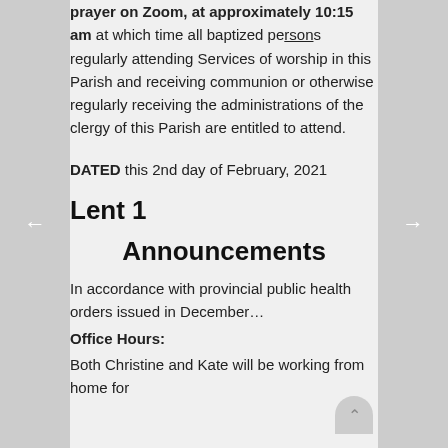prayer on Zoom, at approximately 10:15 am at which time all baptized persons regularly attending Services of worship in this Parish and receiving communion or otherwise regularly receiving the administrations of the clergy of this Parish are entitled to attend.
DATED this 2nd day of February, 2021
Lent 1
Announcements
In accordance with provincial public health orders issued in December…
Office Hours:
Both Christine and Kate will be working from home for